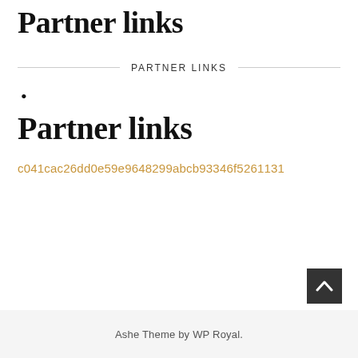Partner links
PARTNER LINKS
Partner links
c041cac26dd0e59e9648299abcb93346f5261131
Ashe Theme by WP Royal.